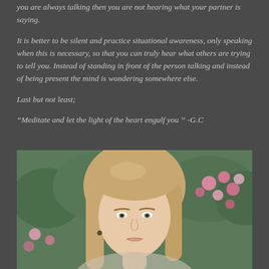you are always talking then you are not hearing what your partner is saying.
It is better to be silent and practice situational awareness, only speaking when this is necessary, so that you can truly hear what others are trying to tell you. Instead of standing in front of the person talking and instead of being present the mind is wondering somewhere else.
Last but not least;
“Meditate and let the light of the heart engulf you ” -G.C
[Figure (photo): Portrait photo of a blonde woman outdoors with a garden of pink roses and green foliage in the background]